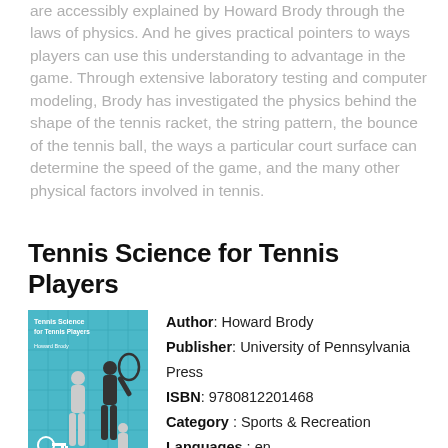are accessibly explained by Howard Brody through the laws of physics. And he gives practical pointers to ways players can use this understanding to advantage in the game. Through extensive laboratory testing and computer modeling, Brody has investigated the physics behind the shape of the tennis racket, the string pattern, the bounce of the tennis ball, the ways a particular court surface can determine the speed of the game, and the many other physical factors involved in tennis.
Tennis Science for Tennis Players
[Figure (illustration): Book cover of Tennis Science for Tennis Players showing silhouettes of tennis players on a cyan/teal background with text]
Author: Howard Brody
Publisher: University of Pennsylvania Press
ISBN: 9780812201468
Category: Sports & Recreation
Languages: en
Pages: 160